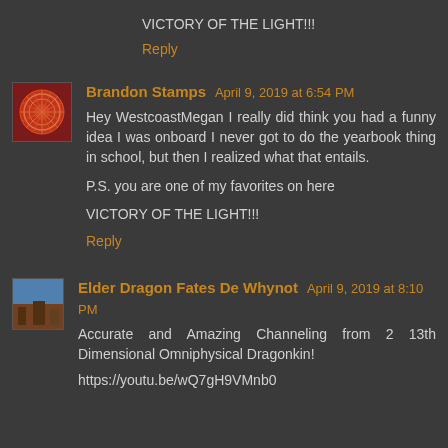VICTORY OF THE LIGHT!!!
Reply
Brandon Stamps   April 9, 2019 at 6:54 PM
Hey WestcoastMegan I really did think you had a funny idea I was onboard I never got to do the yearbook thing in school, but then I realized what that entails.

P.S. you are one of my favorites on here

VICTORY OF THE LIGHT!!!
Reply
Elder Dragon Fates De Whynot   April 9, 2019 at 8:10 PM
Accurate and Amazing Channeling from 2 13th Dimensional Omniphysical Dragonkin!
https://youtu.be/wQ7gH9VMnb0